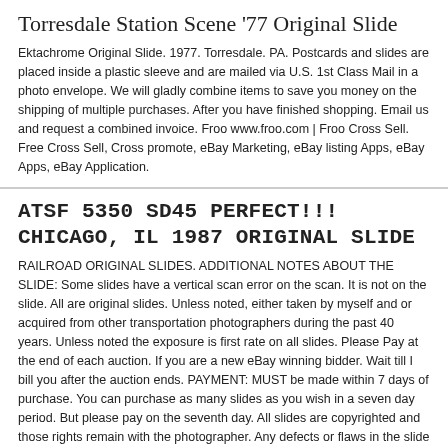Torresdale Station Scene '77 Original Slide
Ektachrome Original Slide. 1977. Torresdale. PA. Postcards and slides are placed inside a plastic sleeve and are mailed via U.S. 1st Class Mail in a photo envelope. We will gladly combine items to save you money on the shipping of multiple purchases. After you have finished shopping. Email us and request a combined invoice. Froo www.froo.com | Froo Cross Sell. Free Cross Sell, Cross promote, eBay Marketing, eBay listing Apps, eBay Apps, eBay Application.
ATSF 5350 SD45 PERFECT!!! CHICAGO, IL 1987 ORIGINAL SLIDE
RAILROAD ORIGINAL SLIDES. ADDITIONAL NOTES ABOUT THE SLIDE: Some slides have a vertical scan error on the scan. It is not on the slide. All are original slides. Unless noted, either taken by myself and or acquired from other transportation photographers during the past 40 years. Unless noted the exposure is first rate on all slides. Please Pay at the end of each auction. If you are a new eBay winning bidder. Wait till I bill you after the auction ends. PAYMENT: MUST be made within 7 days of purchase. You can purchase as many slides as you wish in a seven day period. But please pay on the seventh day. All slides are copyrighted and those rights remain with the photographer. Any defects or flaws in the slide are described in the"Additional Slide Information" SHIPPING: U.S. Postal Service by First Class Mail. I ship within 24 hours of receiving ... more